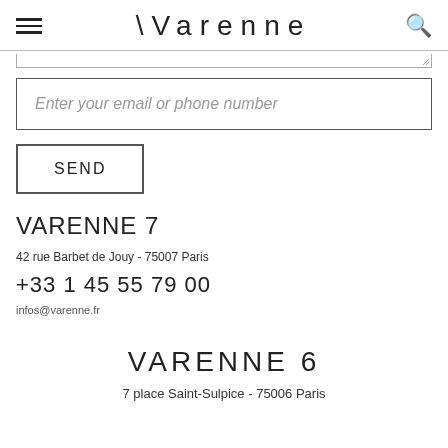Varenne
Enter your email or phone number
SEND
VARENNE 7
42 rue Barbet de Jouy - 75007 Paris
+33 1 45 55 79 00
infos@varenne.fr
VARENNE 6
7 place Saint-Sulpice - 75006 Paris